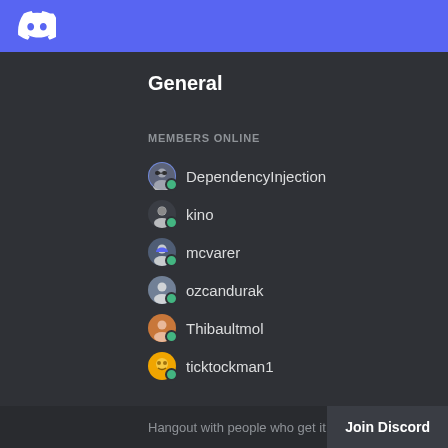[Figure (screenshot): Discord logo icon in white on blue header bar]
General
MEMBERS ONLINE
DependencyInjection
kino
mcvarer
ozcandurak
Thibaultmol
ticktockman1
Hangout with people who get it
Join Discord